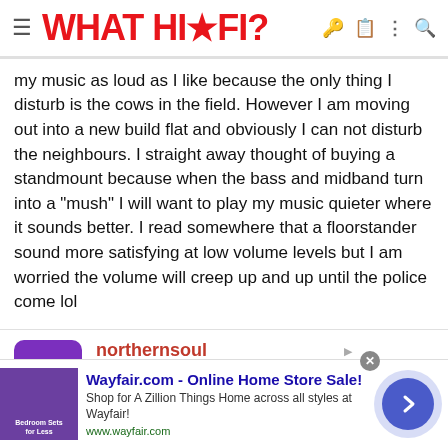WHAT HI·FI?
my music as loud as I like because the only thing I disturb is the cows in the field. However I am moving out into a new build flat and obviously I can not disturb the neighbours. I straight away thought of buying a standmount because when the bass and midband turn into a "mush" I will want to play my music quieter where it sounds better. I read somewhere that a floorstander sound more satisfying at low volume levels but I am worried the volume will creep up and up until the police come lol
northernsoul
New member
May 7, 2010   13   0   0
Jul 2, 2010   #12
[Figure (screenshot): Wayfair.com advertisement banner]